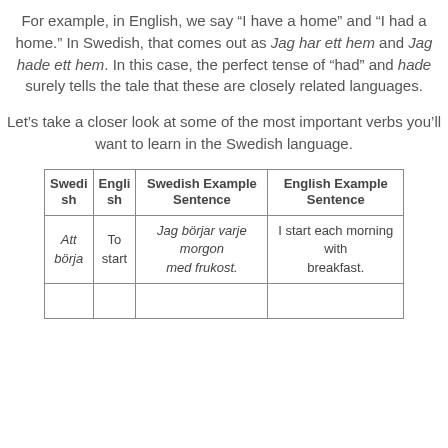For example, in English, we say “I have a home” and “I had a home.” In Swedish, that comes out as Jag har ett hem and Jag hade ett hem. In this case, the perfect tense of “had” and hade surely tells the tale that these are closely related languages.
Let’s take a closer look at some of the most important verbs you’ll want to learn in the Swedish language.
| Swedish | English | Swedish Example Sentence | English Example Sentence |
| --- | --- | --- | --- |
| Att börja | To start | Jag börjar varje morgon med frukost. | I start each morning with breakfast. |